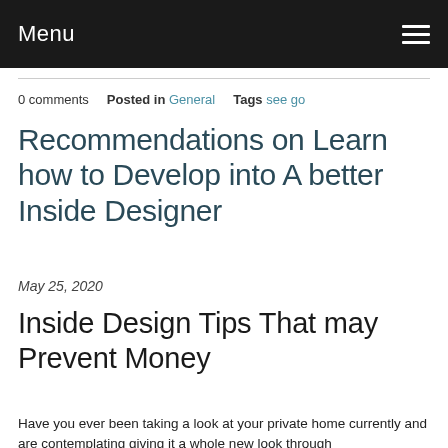Menu
0 comments   Posted in General   Tags see go
Recommendations on Learn how to Develop into A better Inside Designer
May 25, 2020
Inside Design Tips That may Prevent Money
Have you ever been taking a look at your private home currently and are contemplating giving it a whole new look through